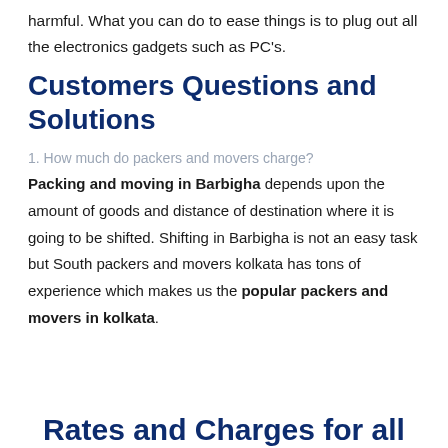harmful. What you can do to ease things is to plug out all the electronics gadgets such as PC's.
Customers Questions and Solutions
1. How much do packers and movers charge?
Packing and moving in Barbigha depends upon the amount of goods and distance of destination where it is going to be shifted. Shifting in Barbigha is not an easy task but South packers and movers kolkata has tons of experience which makes us the popular packers and movers in kolkata.
Rates and Charges for all